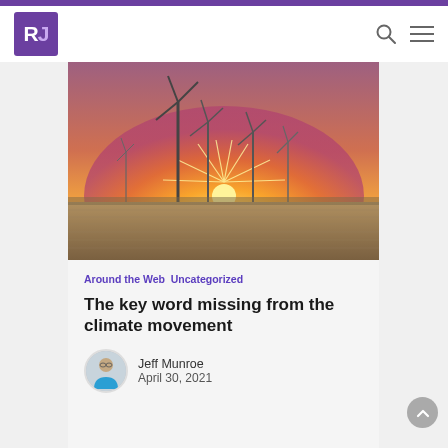RJ — site header with logo, search icon, menu icon
[Figure (photo): Wind turbines silhouetted against a warm orange and pink sunset sky over a flat field]
Around the Web   Uncategorized
The key word missing from the climate movement
Jeff Munroe
April 30, 2021